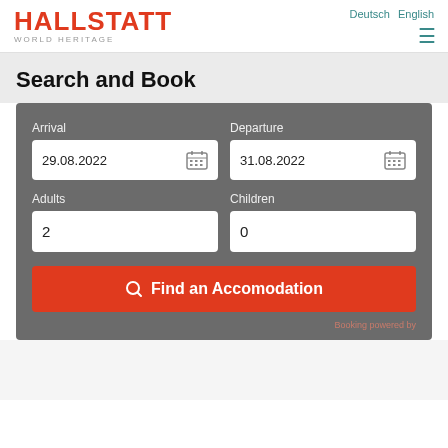HALLSTATT WORLD HERITAGE | Deutsch  English
Search and Book
Arrival: 29.08.2022 | Departure: 31.08.2022 | Adults: 2 | Children: 0
Find an Accomodation